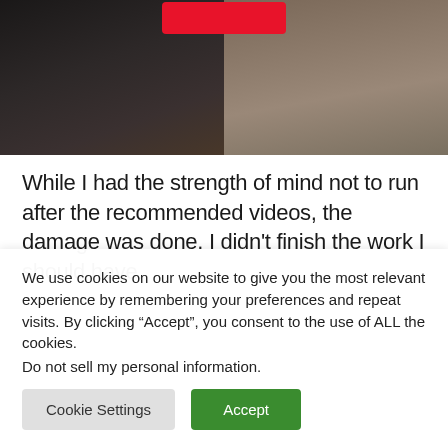[Figure (photo): Two people in dark clothing, appearing to shake hands or interact, in a dimly lit indoor setting. A red play button overlay is visible at the top center.]
While I had the strength of mind not to run after the recommended videos, the damage was done. I didn't finish the work I should have.
We use cookies on our website to give you the most relevant experience by remembering your preferences and repeat visits. By clicking "Accept", you consent to the use of ALL the cookies.
Do not sell my personal information.